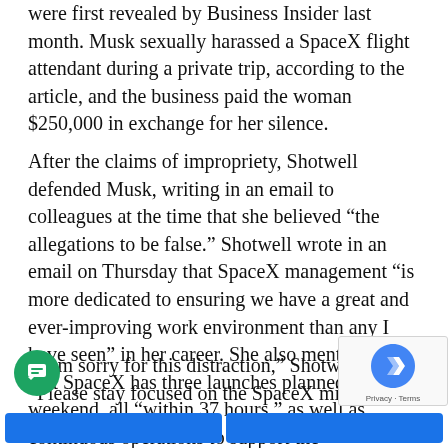were first revealed by Business Insider last month. Musk sexually harassed a SpaceX flight attendant during a private trip, according to the article, and the business paid the woman $250,000 in exchange for her silence.
After the claims of impropriety, Shotwell defended Musk, writing in an email to colleagues at the time that she believed “the allegations to be false.” Shotwell wrote in an email on Thursday that SpaceX management “is more dedicated to ensuring we have a great and ever-improving work environment than any I have seen” in her career. She also mentioned that SpaceX has three launches planned for this weekend, all “within 37 hours,” as well as continuous operations to support the International Space Station.
“I am sorry for this distraction,” Shotwell said. “Please stay focused on the SpaceX mission, and use your work to do your best work.”